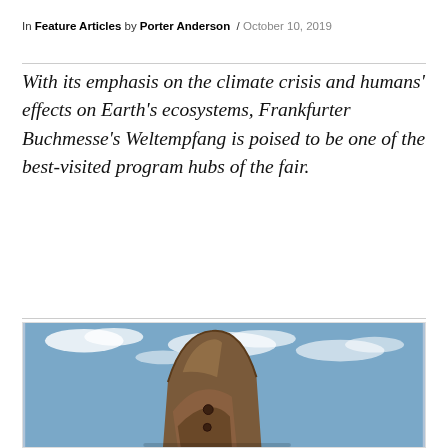In Feature Articles by Porter Anderson / October 10, 2019
With its emphasis on the climate crisis and humans' effects on Earth's ecosystems, Frankfurter Buchmesse's Weltempfang is poised to be one of the best-visited program hubs of the fair.
[Figure (photo): A rusted large metal object photographed against a partly cloudy blue sky, resembling a worn industrial reel or sculpture.]